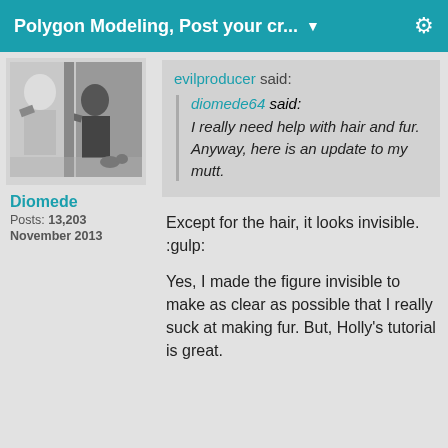Polygon Modeling, Post your cr... ▼
[Figure (photo): Black and white avatar image showing illustrated characters outdoors]
Diomede
Posts: 13,203
November 2013
evilproducer said:
diomede64 said:
I really need help with hair and fur. Anyway, here is an update to my mutt.
Except for the hair, it looks invisible. :gulp:

Yes, I made the figure invisible to make as clear as possible that I really suck at making fur. But, Holly's tutorial is great.